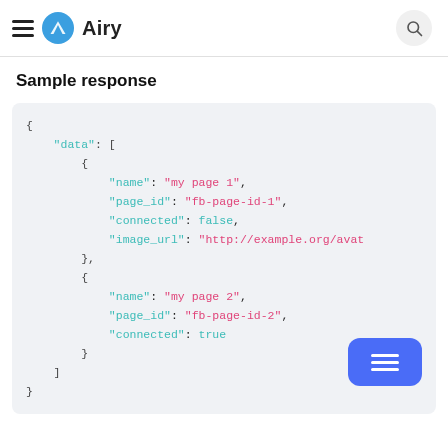≡ Airy
Sample response
{
    "data": [
        {
            "name": "my page 1",
            "page_id": "fb-page-id-1",
            "connected": false,
            "image_url": "http://example.org/avat
        },
        {
            "name": "my page 2",
            "page_id": "fb-page-id-2",
            "connected": true
        }
    ]
}